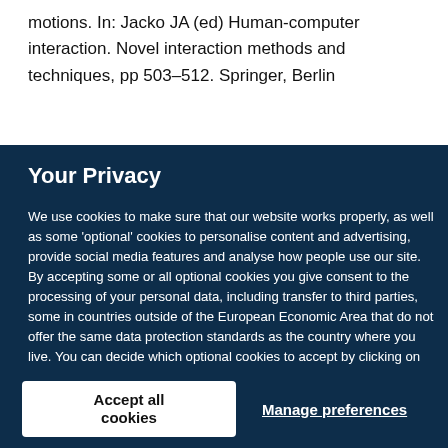motions. In: Jacko JA (ed) Human-computer interaction. Novel interaction methods and techniques, pp 503–512. Springer, Berlin
Your Privacy
We use cookies to make sure that our website works properly, as well as some 'optional' cookies to personalise content and advertising, provide social media features and analyse how people use our site. By accepting some or all optional cookies you give consent to the processing of your personal data, including transfer to third parties, some in countries outside of the European Economic Area that do not offer the same data protection standards as the country where you live. You can decide which optional cookies to accept by clicking on 'Manage Settings', where you can also find more information about how your personal data is processed. Further information can be found in our privacy policy.
Accept all cookies
Manage preferences